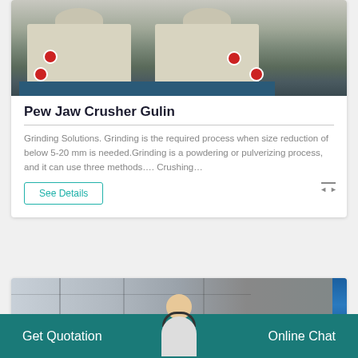[Figure (photo): Industrial jaw crusher machines in a factory setting, two large cream/white colored machines on blue steel frames]
Pew Jaw Crusher Gulin
Grinding Solutions. Grinding is the required process when size reduction of below 5-20 mm is needed.Grinding is a powdering or pulverizing process, and it can use three methods…. Crushing…
See Details
[Figure (photo): Industrial warehouse/factory interior with steel structure and blue banner on right side]
Get Quotation
Online Chat